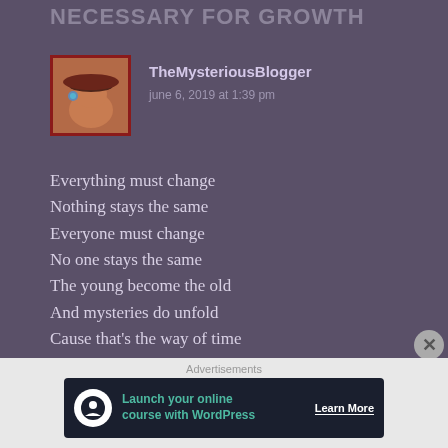NECESSARY FOR GROWTH
TheMysteriousBlogger
june 6, 2019 at 1:39 pm
Everything must change
Nothing stays the same
Everyone must change
No one stays the same
The young become the old
And mysteries do unfold
Cause that's the way of time
Nothing and no one goes unchanged
Advertisements
Launch your online course with WordPress  Learn More